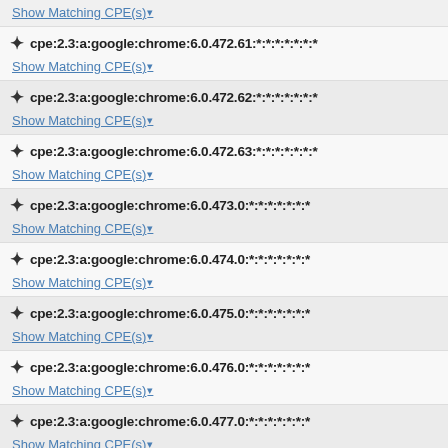cpe:2.3:a:google:chrome:6.0.472.61:*:*:*:*:*:*:*
Show Matching CPE(s)
cpe:2.3:a:google:chrome:6.0.472.62:*:*:*:*:*:*:*
Show Matching CPE(s)
cpe:2.3:a:google:chrome:6.0.472.63:*:*:*:*:*:*:*
Show Matching CPE(s)
cpe:2.3:a:google:chrome:6.0.473.0:*:*:*:*:*:*:*
Show Matching CPE(s)
cpe:2.3:a:google:chrome:6.0.474.0:*:*:*:*:*:*:*
Show Matching CPE(s)
cpe:2.3:a:google:chrome:6.0.475.0:*:*:*:*:*:*:*
Show Matching CPE(s)
cpe:2.3:a:google:chrome:6.0.476.0:*:*:*:*:*:*:*
Show Matching CPE(s)
cpe:2.3:a:google:chrome:6.0.477.0:*:*:*:*:*:*:*
Show Matching CPE(s)